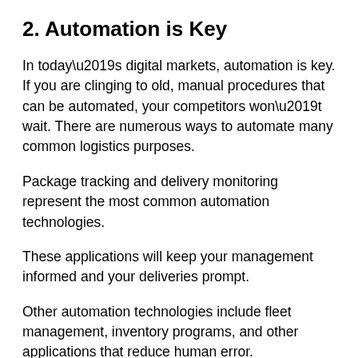2. Automation is Key
In today’s digital markets, automation is key. If you are clinging to old, manual procedures that can be automated, your competitors won’t wait. There are numerous ways to automate many common logistics purposes.
Package tracking and delivery monitoring represent the most common automation technologies.
These applications will keep your management informed and your deliveries prompt.
Other automation technologies include fleet management, inventory programs, and other applications that reduce human error.